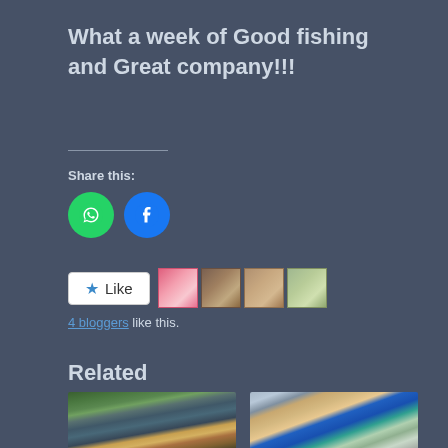What a week of Good fishing and Great company!!!
Share this:
[Figure (illustration): WhatsApp share icon — green circle with white phone/chat symbol]
[Figure (illustration): Facebook share icon — blue circle with white F logo]
[Figure (illustration): Like button with star icon and 4 blogger avatar thumbnails]
4 bloggers like this.
Related
[Figure (photo): Person in cap holding a large fish near water]
[Figure (photo): Adult and young child holding a fish together]